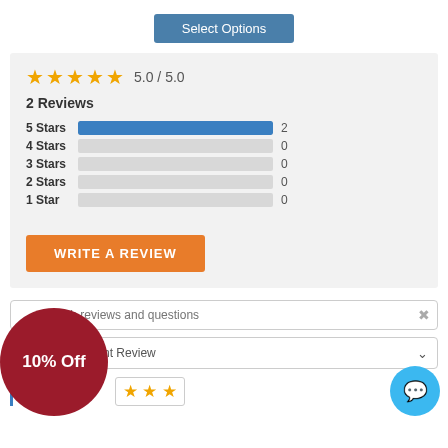[Figure (screenshot): Select Options button - blue rectangular button at top center]
[Figure (bar-chart): Star rating distribution]
5.0 / 5.0
2 Reviews
[Figure (screenshot): WRITE A REVIEW orange button]
[Figure (screenshot): Search reviews and questions input box]
[Figure (screenshot): Sort by Most Recent Review dropdown]
[Figure (screenshot): 10% Off promotional circle badge]
[Figure (screenshot): Chat button (blue circle with speech bubble icon)]
[Figure (screenshot): Partial star rating row at bottom (3 orange stars visible)]